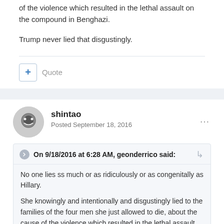of the violence which resulted in the lethal assault on the compound in Benghazi.
Trump never lied that disgustingly.
shintao
Posted September 18, 2016
On 9/18/2016 at 6:28 AM, geonderrico said:
No one lies ss much or as ridiculously or as congenitally as Hillary.
She knowingly and intentionally and disgustingly lied to the families of the four men she just allowed to die, about the cause of the violence which resulted in the lethal assault on